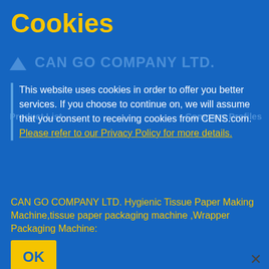Cookies
This website uses cookies in order to offer you better services. If you choose to continue on, we will assume that you consent to receiving cookies from CENS.com. Please refer to our Privacy Policy for more details.
CAN GO COMPANY LTD. Hygienic Tissue Paper Making Machine,tissue paper packaging machine ,Wrapper Packaging Machine:
Zig-Zig interfold towel paper machine, Interfolders facial tissue machine, serviette paper napkin machine, fully automatic wrapping packaging machine,
Auto cartoner, facial tissue packaging, Hand towel tissue machine, Wet tissue machine, Wet wipe machine, Wet towel machine,Osibori machine, Serviette paper napkin machine,Toilet roll tissue, Kitchen towel roll converting machine whole plant,JRT,Maxi roll machine,Industrial roll,auto JRT Log saw,Log cutter,Slitter rewinder,slitting rewinder,for paper, film, foil
Global Buyers' Most Trusted Taiwan Supplier Platform